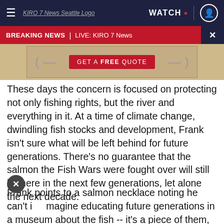≡  KIRO 7 News Seattle Logo  WATCH •  [profile icon]
BREAKING NEWS | LIVE: KIRO 7 News  ✕
[Figure (photo): Partial advertisement image showing a red button with text GET A FREE QUOTE on a wood-toned background]
These days the concern is focused on protecting not only fishing rights, but the river and everything in it. At a time of climate change, dwindling fish stocks and development, Frank isn't sure what will be left behind for future generations. There's no guarantee that the salmon the Fish Wars were fought over will still be here in the next few generations, let alone the next decade.
Frank points to a salmon necklace noting he can't imagine educating future generations in a museum about the fish -- it's a piece of them, and it's in